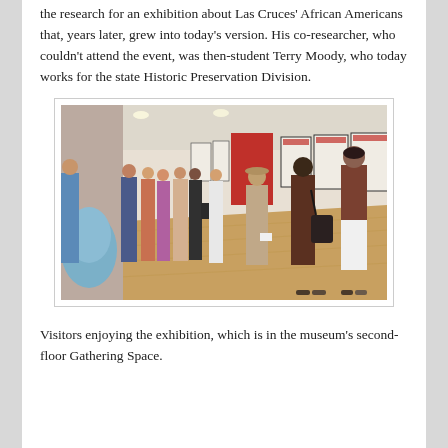the research for an exhibition about Las Cruces' African Americans that, years later, grew into today's version. His co-researcher, who couldn't attend the event, was then-student Terry Moody, who today works for the state Historic Preservation Division.
[Figure (photo): Visitors standing in a line along a gallery wall, viewing framed exhibition panels. A large red panel is visible on the wall. The space has wood flooring and a curved blue seating element on the left. The museum's second-floor Gathering Space.]
Visitors enjoying the exhibition, which is in the museum's second-floor Gathering Space.